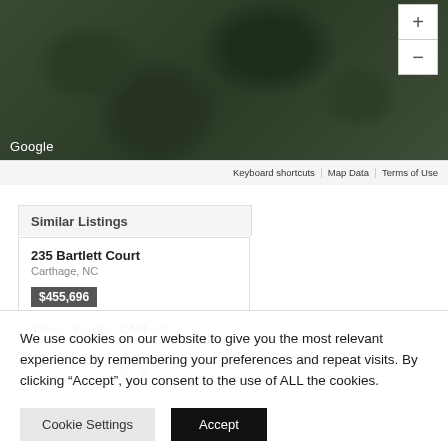[Figure (screenshot): Google Maps satellite view showing aerial/overhead view of a wooded/forested area with map controls (plus and minus zoom buttons) and Google branding, Keyboard shortcuts, Map Data, and Terms of Use in the footer.]
Similar Listings
235 Bartlett Court
Carthage, NC
$455,696
4 Beds  3 Baths  2,444 sqft
Listed with Everything New in the Pines
We use cookies on our website to give you the most relevant experience by remembering your preferences and repeat visits. By clicking “Accept”, you consent to the use of ALL the cookies.
Cookie Settings    Accept